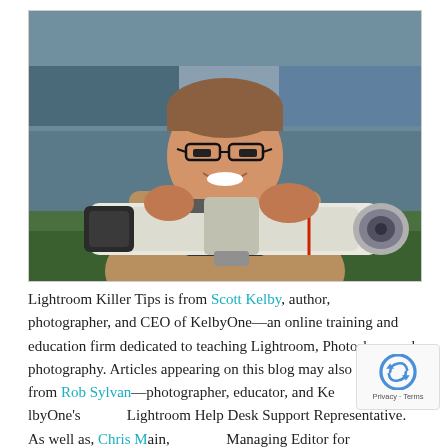[Figure (photo): Man smiling and holding a large white Canon telephoto lens/camera at a sports stadium, wearing a khaki shirt]
Lightroom Killer Tips is from Scott Kelby, author, photographer, and CEO of KelbyOne—an online training and education firm dedicated to teaching Lightroom, Photoshop, and photography. Articles appearing on this blog may also come from Rob Sylvan—photographer, educator, and KelbyOne's Lightroom Help Desk Support Representative. As well as, Chris Main, Managing Editor for KelbyOne's member magazines, Lightroom Magazine